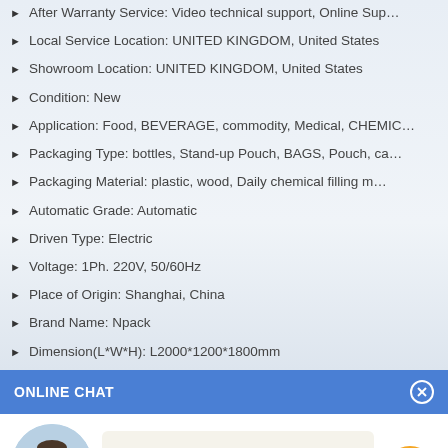After Warranty Service: Video technical support, Online Sup…
Local Service Location: UNITED KINGDOM, United States
Showroom Location: UNITED KINGDOM, United States
Condition: New
Application: Food, BEVERAGE, commodity, Medical, CHEMIC…
Packaging Type: bottles, Stand-up Pouch, BAGS, Pouch, ca…
Packaging Material: plastic, wood, Daily chemical filling m…
Automatic Grade: Automatic
Driven Type: Electric
Voltage: 1Ph. 220V, 50/60Hz
Place of Origin: Shanghai, China
Brand Name: Npack
Dimension(L*W*H): L2000*1200*1800mm
ONLINE CHAT
[Figure (illustration): Chat widget with avatar of agent named Cilina and message bubble saying Hi,welcome to visit our website.]